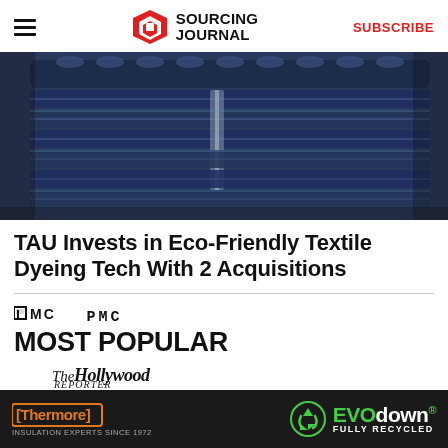SOURCING JOURNAL | SUBSCRIBE
[Figure (photo): Industrial textile dyeing machinery with blue fabric rolls and metal frames, close-up industrial photo]
TAU Invests in Eco-Friendly Textile Dyeing Tech With 2 Acquisitions
[Figure (logo): PMC logo in black monospace style]
MOST POPULAR
[Figure (logo): The Hollywood Reporter logo in italic serif font]
1. Marvel Suing to Keep Rights to 'Avengers' Characters From Copyright Termination
[Figure (other): Thermore and EVO down advertisement banner on black background]